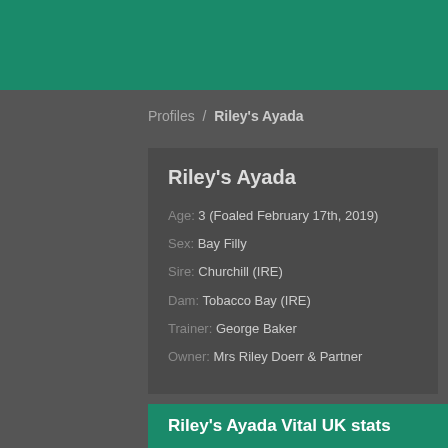Profiles / Riley's Ayada
Riley's Ayada
Age: 3 (Foaled February 17th, 2019)
Sex: Bay Filly
Sire: Churchill (IRE)
Dam: Tobacco Bay (IRE)
Trainer: George Baker
Owner: Mrs Riley Doerr & Partner
Riley's Ayada Vital UK stats